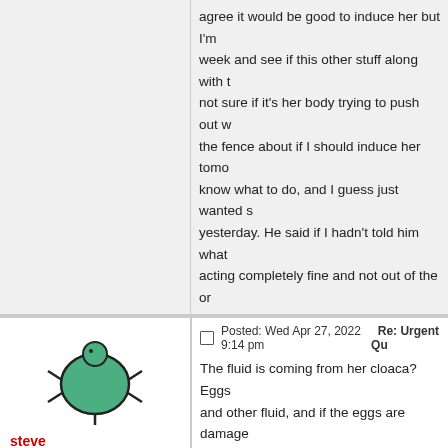agree it would be good to induce her but I'm week and see if this other stuff along with t not sure if it's her body trying to push out w the fence about if I should induce her tomo know what to do, and I guess just wanted s yesterday. He said if I hadn't told him what acting completely fine and not out of the or
Posted: Wed Apr 27, 2022 9:14 pm   Re: Urgent Qu
[Figure (illustration): Green turtle avatar icon for user 'steve']
steve
Site Admin
Posts: 31276
Joined: Apr 11, 2005
Location: New York, NY
Gender: Male
The fluid is coming from her cloaca? Eggs and other fluid, and if the eggs are damage they were oddly shaped? Did she experien
Click here before you post a new topic in URGENT
Check us out on: Facebook. How to post photos o
Posted: Thu Apr 28, 2022 12:28 am   Re: Urgent Qu
Unfortunately I took too long to decide and squeeze her in. Yeah the fluid is looking...